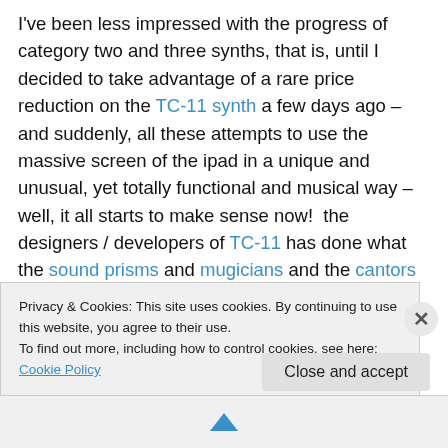I've been less impressed with the progress of category two and three synths, that is, until I decided to take advantage of a rare price reduction on the TC-11 synth a few days ago – and suddenly, all these attempts to use the massive screen of the ipad in a unique and unusual, yet totally functional and musical way – well, it all starts to make sense now!  the designers / developers of TC-11 has done what the sound prisms and mugicians and the cantors could not quite do – they've created a synth with no keyboard, that is actually playable; that challenges the very need for a standard keyboard, and I found today, in
Privacy & Cookies: This site uses cookies. By continuing to use this website, you agree to their use.
To find out more, including how to control cookies, see here: Cookie Policy